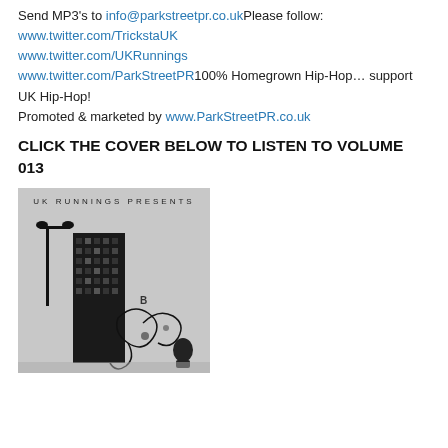Send MP3's to info@parkstreetpr.co.ukPlease follow: www.twitter.com/TrickstaUK www.twitter.com/UKRunnings www.twitter.com/ParkStreetPR100% Homegrown Hip-Hop… support UK Hip-Hop! Promoted & marketed by www.ParkStreetPR.co.uk
CLICK THE COVER BELOW TO LISTEN TO VOLUME 013
[Figure (illustration): Album/mixtape cover art for UK Runnings Presents, showing a black and white urban illustration with a tall building, street lamp, decorative floral/scroll elements, and a figure, on a grey background with 'UK RUNNINGS PRESENTS' text at top.]